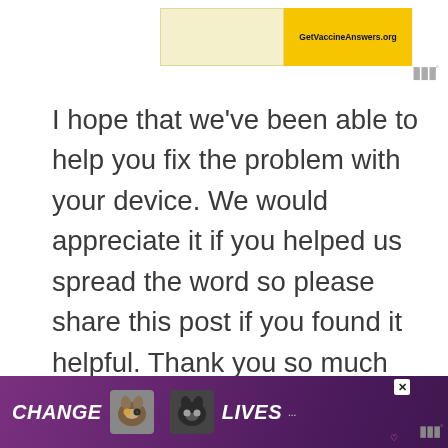[Figure (screenshot): Top advertisement banner with cream/yellow background and GetVaccineAnswers.org text]
I hope that we've been able to help you fix the problem with your device. We would appreciate it if you helped us spread the word so please share this post if you found it helpful. Thank you so much for reading!
RELATED POSTS:
[Figure (screenshot): Bottom advertisement banner with purple/dark background showing cats and text CHANGE LIVES]